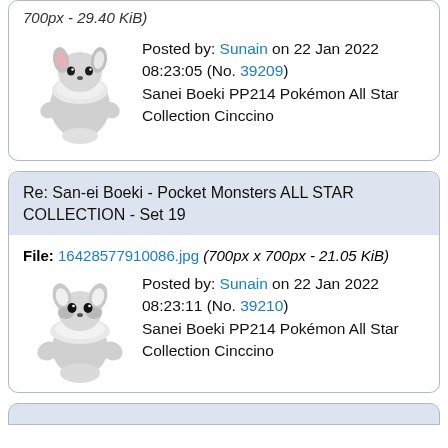700px - 29.40 KiB)
Posted by: Sunain on 22 Jan 2022 08:23:05 (No. 39209)
Sanei Boeki PP214 Pokémon All Star Collection Cinccino
Re: San-ei Boeki - Pocket Monsters ALL STAR COLLECTION - Set 19
File: 16428577910086.jpg (700px x 700px - 21.05 KiB)
Posted by: Sunain on 22 Jan 2022 08:23:11 (No. 39210)
Sanei Boeki PP214 Pokémon All Star Collection Cinccino